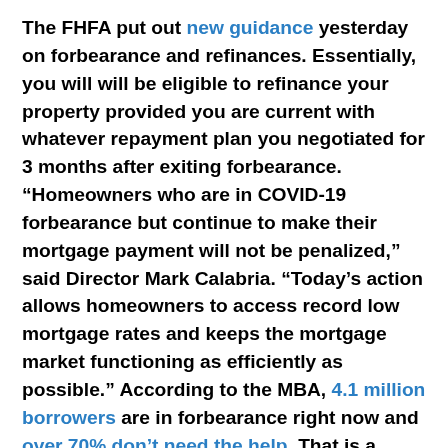The FHFA put out new guidance yesterday on forbearance and refinances. Essentially, you will will be eligible to refinance your property provided you are current with whatever repayment plan you negotiated for 3 months after exiting forbearance. “Homeowners who are in COVID-19 forbearance but continue to make their mortgage payment will not be penalized,” said Director Mark Calabria. “Today’s action allows homeowners to access record low mortgage rates and keeps the mortgage market functioning as efficiently as possible.” According to the MBA, 4.1 million borrowers are in forbearance right now and over 70% don’t need the help. That is a huge number, but i guess it is to be expected since there is no requirement to demonstrate hardship.